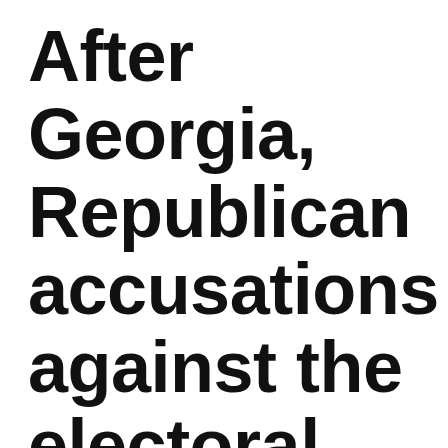After Georgia, Republican accusations against the electoral system reach Arizona